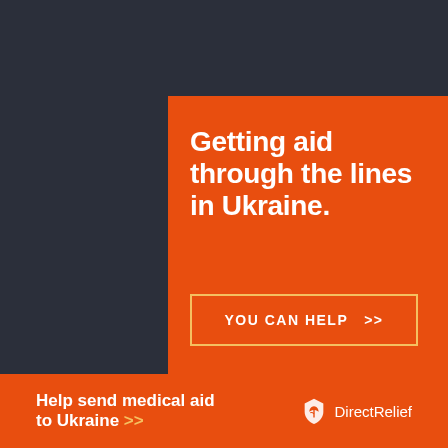[Figure (infographic): Orange advertisement banner for Direct Relief charity. Large white bold text reads 'Getting aid through the lines in Ukraine.' with a yellow-bordered call-to-action button 'YOU CAN HELP >>' and the Direct Relief logo (white shield/book icon) in the lower right.]
ezoic
report this ad
[Figure (infographic): Bottom orange banner reading 'Help send medical aid to Ukraine >>' with Direct Relief logo on the right.]